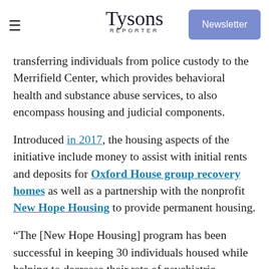Tysons Reporter | Newsletter
transferring individuals from police custody to the Merrifield Center, which provides behavioral health and substance abuse services, to also encompass housing and judicial components.
Introduced in 2017, the housing aspects of the initiative include money to assist with initial rents and deposits for Oxford House group recovery homes as well as a partnership with the nonprofit New Hope Housing to provide permanent housing.
"The [New Hope Housing] program has been successful in keeping 30 individuals housed while helping to decrease their rate of psychiatric hospitalization and time spent in jail. This program costs considerably less than what it does to house an individual in jail — more than 50% less," the 2020 report says, adding that 39